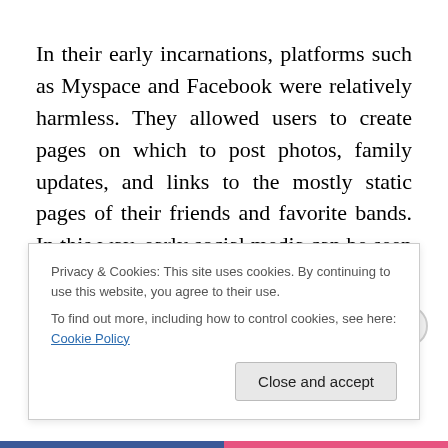In their early incarnations, platforms such as Myspace and Facebook were relatively harmless. They allowed users to create pages on which to post photos, family updates, and links to the mostly static pages of their friends and favorite bands. In this way, early social media can be seen as just another step in the long progression of technological improvements—from the Postal Service through the telephone to email and texting—that helped people
Privacy & Cookies: This site uses cookies. By continuing to use this website, you agree to their use.
To find out more, including how to control cookies, see here: Cookie Policy
Close and accept